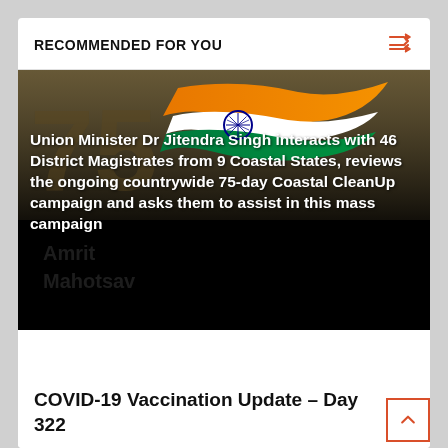RECOMMENDED FOR YOU
[Figure (photo): Indian government news card image showing Indian flag colors (orange, white, green) with Azadi Ka Amrit Mahotsav branding and the number 75, with a dark overlay at bottom]
Union Minister Dr Jitendra Singh interacts with 46 District Magistrates from 9 Coastal States, reviews the ongoing countrywide 75-day Coastal CleanUp campaign and asks them to assist in this mass campaign
COVID-19 Vaccination Update – Day 322